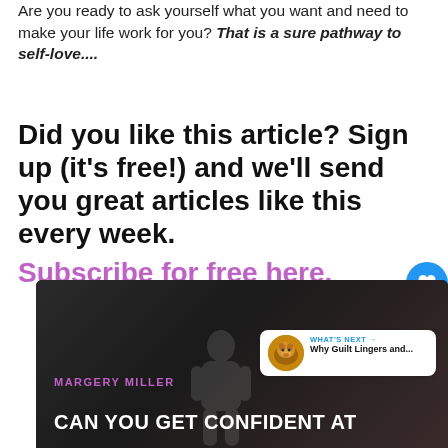Are you ready to ask yourself what you want and need to make your life work for you? That is a sure pathway to self-love....
Did you like this article? Sign up (it's free!) and we'll send you great articles like this every week. Subscribe for free here.
[Figure (screenshot): Dark banner image showing a silhouetted figure, with text 'MARGERY MILLER' in purple and 'CAN YOU GET CONFIDENT AT' in white bold uppercase. A 'What's Next' card with a dog thumbnail and text 'Why Guilt Lingers and...' appears in the top right corner.]